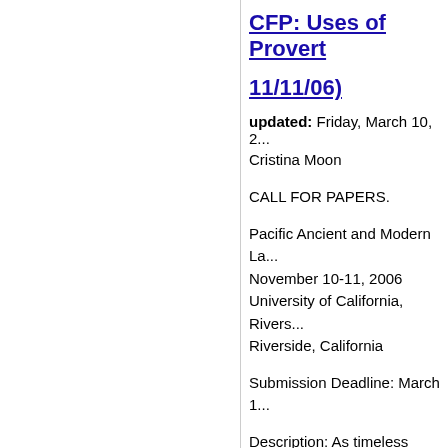CFP: Uses of Proverbs (11/11/06)
updated: Friday, March 10, 2...
Cristina Moon
CALL FOR PAPERS.
Pacific Ancient and Modern La...
November 10-11, 2006
University of California, Rivers...
Riverside, California
Submission Deadline: March 1...
Description: As timeless litera... in folk speech and narrative i... different paremiological uses...